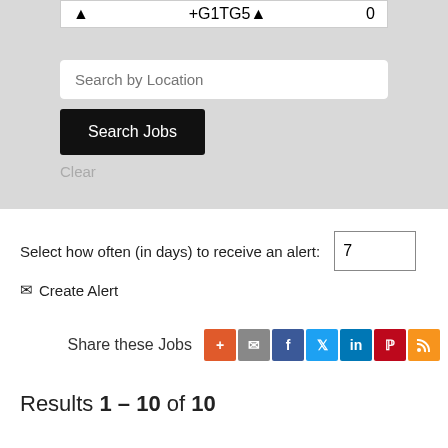Search by Location
Search Jobs
Clear
Select how often (in days) to receive an alert: 7
✉ Create Alert
Share these Jobs
Results 1 – 10 of 10